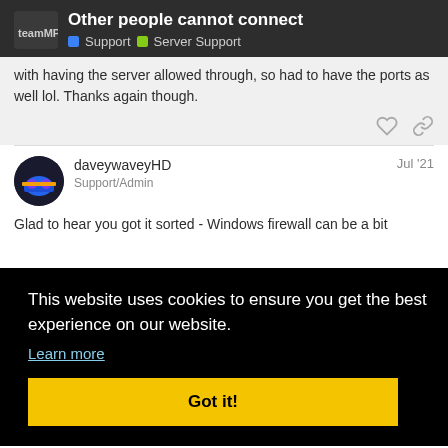Other people cannot connect | Support > Server Support
with having the server allowed through, so had to have the ports as well lol. Thanks again though.
daveywaveyHD  Jul '21
Support/Admin
Glad to hear you got it sorted - Windows firewall can be a bit
This website uses cookies to ensure you get the best experience on our website.
Learn more
Got it!
Suggested Topics